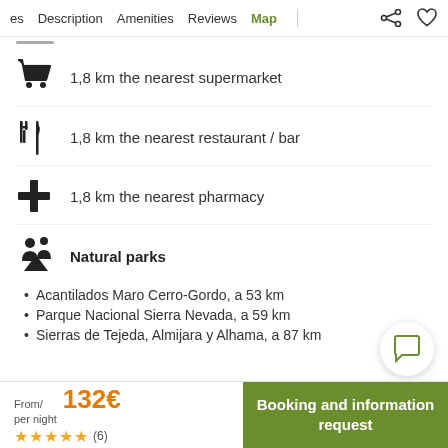es  Description  Amenities  Reviews  Map
1,8 km the nearest supermarket
1,8 km the nearest restaurant / bar
1,8 km the nearest pharmacy
Natural parks
Acantilados Maro Cerro-Gordo, a 53 km
Parque Nacional Sierra Nevada, a 59 km
Sierras de Tejeda, Almijara y Alhama, a 87 km
From/ per night  132€  ★★★★★ (6)
Booking and information request